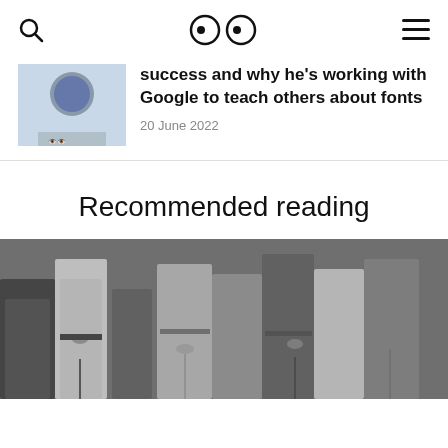🔍  👀  ☰
success and why he's working with Google to teach others about fonts
20 June 2022
Recommended reading
[Figure (photo): Black and white photograph of people standing in a group, showing bodies from waist down, wearing coats.]